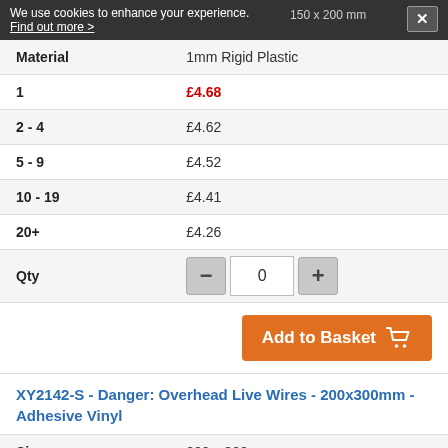We use cookies to enhance your experience. Find out more >    150 x 200 mm
|  |  |
| --- | --- |
| Material | 1mm Rigid Plastic |
| 1 | £4.68 |
| 2 - 4 | £4.62 |
| 5 - 9 | £4.52 |
| 10 - 19 | £4.41 |
| 20+ | £4.26 |
| Qty | — 0 + |
Add to Basket
XY2142-S - Danger: Overhead Live Wires - 200x300mm - Adhesive Vinyl
|  |  |
| --- | --- |
| Size | 200 x 300 mm |
| Material | Self Adhesive Vinyl |